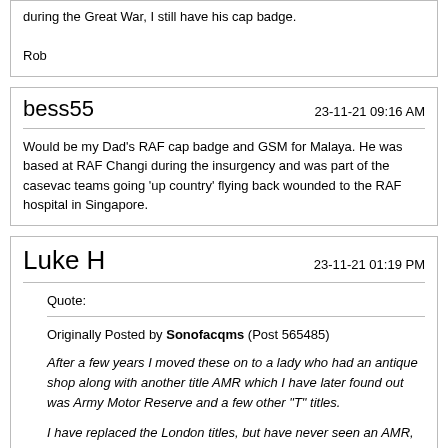during the Great War, I still have his cap badge.

Rob
bess55
23-11-21 09:16 AM
Would be my Dad's RAF cap badge and GSM for Malaya. He was based at RAF Changi during the insurgency and was part of the casevac teams going 'up country' flying back wounded to the RAF hospital in Singapore.
Luke H
23-11-21 01:19 PM
Quote:
Originally Posted by Sonofacqms (Post 565485)
After a few years I moved these on to a lady who had an antique shop along with another title AMR which I have later found out was Army Motor Reserve and a few other "T" titles.
I have replaced the London titles, but have never seen an AMR, so if you have one I am interested . . . !
Since my parents have died along with all of their generation I have found a postcard sent from Rifleman Pheasy, 12th battalion Regiment during the Great War, I still have his...